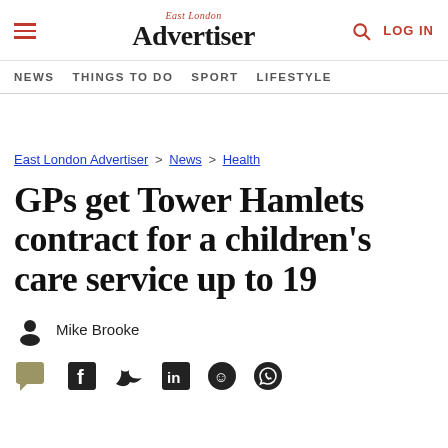East London Advertiser — NEWS | THINGS TO DO | SPORT | LIFESTYLE
East London Advertiser > News > Health
GPs get Tower Hamlets contract for a children's care service up to 19
Mike Brooke